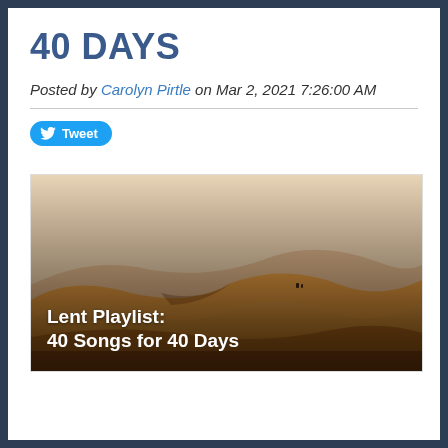40 DAYS
Posted by Carolyn Pirtle on Mar 2, 2021 7:26:00 AM
[Figure (photo): Desert sand dunes with hazy sky. Overlay text reads: Lent Playlist: 40 Songs for 40 Days]